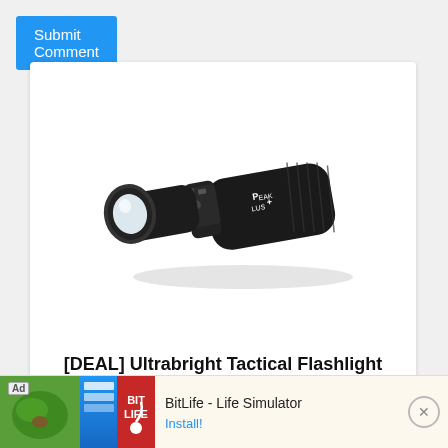Submit Comment
[Figure (photo): Black tactical flashlight (Peak Plus brand) on white background, diagonally positioned]
[DEAL] Ultrabright Tactical Flashlight
Never be Vulnerable in the Dark Again
Ad  BitLife - Life Simulator  Install!